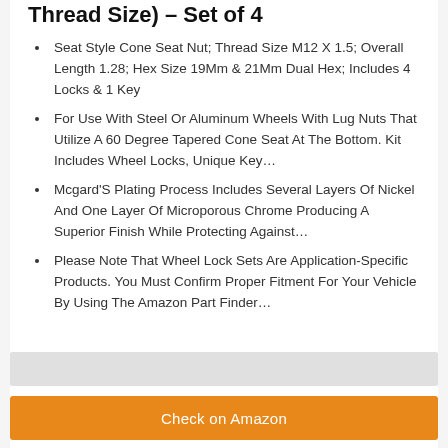Thread Size) – Set of 4
Seat Style Cone Seat Nut; Thread Size M12 X 1.5; Overall Length 1.28; Hex Size 19Mm & 21Mm Dual Hex; Includes 4 Locks & 1 Key
For Use With Steel Or Aluminum Wheels With Lug Nuts That Utilize A 60 Degree Tapered Cone Seat At The Bottom. Kit Includes Wheel Locks, Unique Key…
Mcgard'S Plating Process Includes Several Layers Of Nickel And One Layer Of Microporous Chrome Producing A Superior Finish While Protecting Against…
Please Note That Wheel Lock Sets Are Application-Specific Products. You Must Confirm Proper Fitment For Your Vehicle By Using The Amazon Part Finder…
Check on Amazon